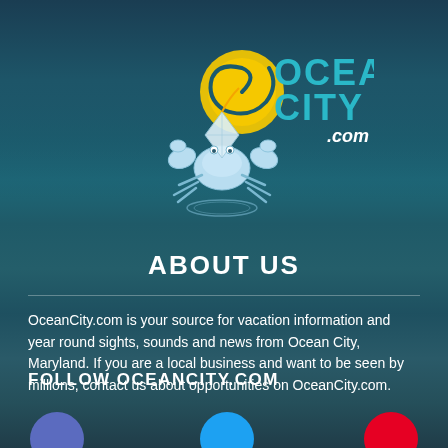[Figure (logo): OceanCity.com logo featuring a cartoon crab holding a kite under a yellow swirl sun, with teal text reading OCEAN CITY .com]
ABOUT US
OceanCity.com is your source for vacation information and year round sights, sounds and news from Ocean City, Maryland. If you are a local business and want to be seen by millions, contact us about opportunities on OceanCity.com.
FOLLOW OCEANCITY.COM
[Figure (infographic): Three social media circle icons at the bottom: purple/blue for Facebook, blue for Twitter, red for Pinterest]